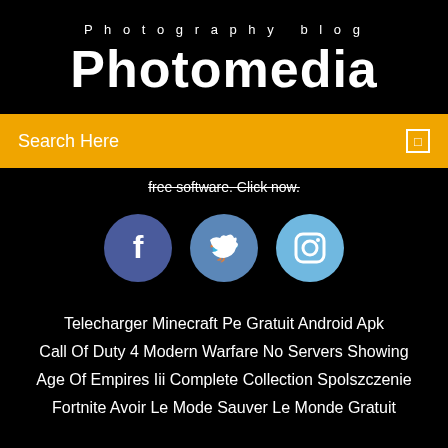Photography blog
Photomedia
Search Here
free software. Click now.
[Figure (illustration): Three social media icons: Facebook (dark blue circle with f), Twitter (medium blue circle with bird), Instagram (light blue circle with camera)]
Telecharger Minecraft Pe Gratuit Android Apk
Call Of Duty 4 Modern Warfare No Servers Showing
Age Of Empires Iii Complete Collection Spolszczenie
Fortnite Avoir Le Mode Sauver Le Monde Gratuit